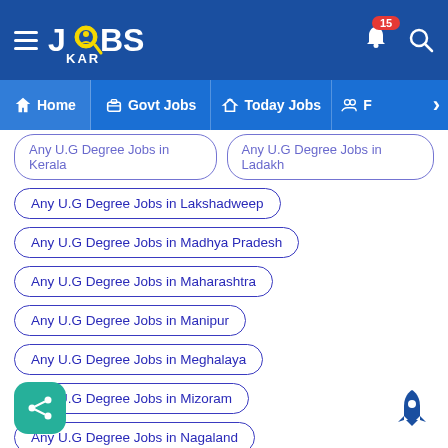JobsKar - Home | Govt Jobs | Today Jobs
Any U.G Degree Jobs in Kerala
Any U.G Degree Jobs in Ladakh
Any U.G Degree Jobs in Lakshadweep
Any U.G Degree Jobs in Madhya Pradesh
Any U.G Degree Jobs in Maharashtra
Any U.G Degree Jobs in Manipur
Any U.G Degree Jobs in Meghalaya
Any U.G Degree Jobs in Mizoram
Any U.G Degree Jobs in Nagaland
Any U.G Degree Jobs in Odisha